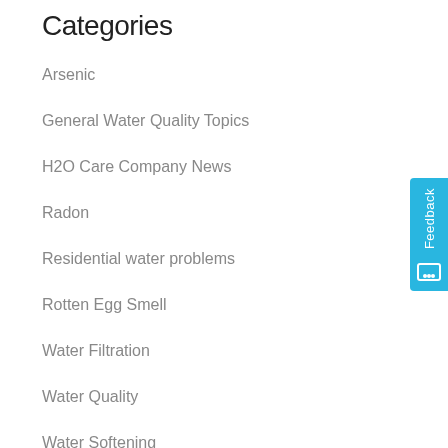Categories
Arsenic
General Water Quality Topics
H2O Care Company News
Radon
Residential water problems
Rotten Egg Smell
Water Filtration
Water Quality
Water Softening
Recent Posts